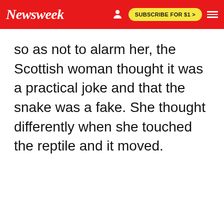Newsweek | SUBSCRIBE FOR $1 >
so as not to alarm her, the Scottish woman thought it was a practical joke and that the snake was a fake. She thought differently when she touched the reptile and it moved.